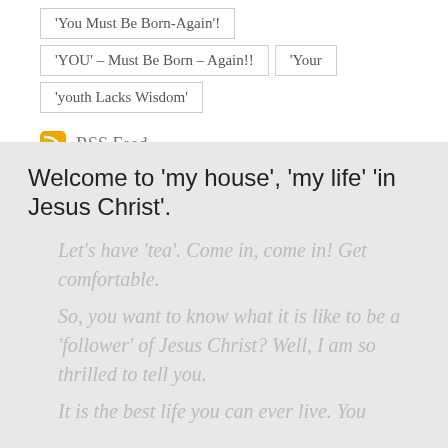'You Must Be Born-Again'!
'YOU' – Must Be Born – Again!!
'Your
'youth Lacks Wisdom'
RSS Feed
Welcome to 'my house', 'my life' 'in Jesus Christ'.
Let's have 'tea'.  Come in, come in!  Get comfortable.
So, you want to know what it is like to be a 'follower' of Jesus Christ?  Well, I am so thrilled to tell you.
It is the best life you can ever live.  You